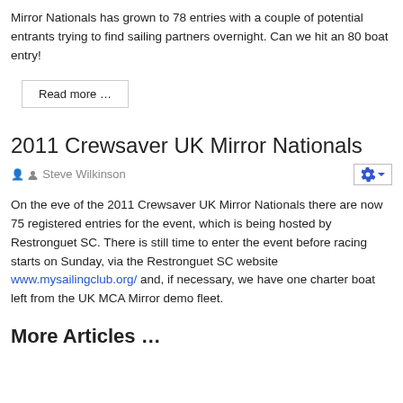Mirror Nationals has grown to 78 entries with a couple of potential entrants trying to find sailing partners overnight. Can we hit an 80 boat entry!
Read more …
2011 Crewsaver UK Mirror Nationals
Steve Wilkinson
On the eve of the 2011 Crewsaver UK Mirror Nationals there are now 75 registered entries for the event, which is being hosted by Restronguet SC. There is still time to enter the event before racing starts on Sunday, via the Restronguet SC website www.mysailingclub.org/ and, if necessary, we have one charter boat left from the UK MCA Mirror demo fleet.
More Articles …